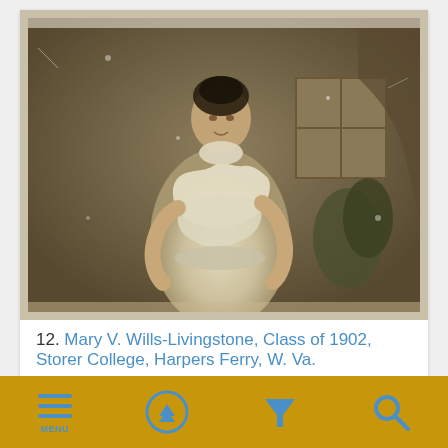[Figure (photo): Sepia-toned historical photograph of Mary V. Wills-Livingstone, a woman in Victorian-era white ruffled dress with high collar, dark hair piled up, standing in a portrait studio with a painted backdrop and a window visible in the background. Photo appears aged with some deterioration.]
12. Mary V. Wills-Livingstone, Class of 1902, Storer College, Harpers Ferry, W. Va.
IDNO: